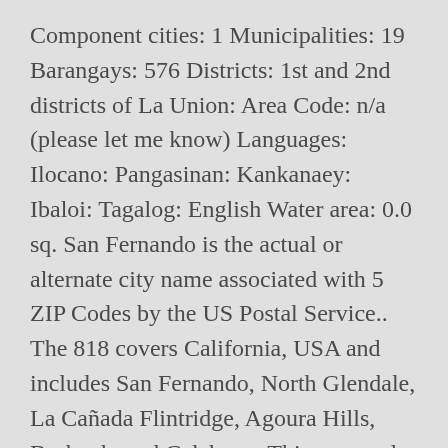Component cities: 1 Municipalities: 19 Barangays: 576 Districts: 1st and 2nd districts of La Union: Area Code: n/a (please let me know) Languages: Ilocano: Pangasinan: Kankanaey: Ibaloi: Tagalog: English Water area: 0.0 sq. San Fernando is the actual or alternate city name associated with 5 ZIP Codes by the US Postal Service.. The 818 covers California, USA and includes San Fernando, North Glendale, La Cañada Flintridge, Agoura Hills, Burbank, and Calabasas.This area code 818 uses the North American Numbering Plan format. This is the Trinidad and Tobago Post Code page. Pampanga Area Code. The 818 covers the greater San Fernando Valley area of Los